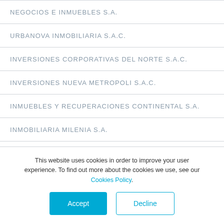NEGOCIOS E INMUEBLES S.A.
URBANOVA INMOBILIARIA S.A.C.
INVERSIONES CORPORATIVAS DEL NORTE S.A.C.
INVERSIONES NUEVA METROPOLI S.A.C.
INMUEBLES Y RECUPERACIONES CONTINENTAL S.A.
INMOBILIARIA MILENIA S.A.
LA QUINTA DE LOS FABRICANTES S.A.C.
This website uses cookies in order to improve your user experience. To find out more about the cookies we use, see our Cookies Policy.